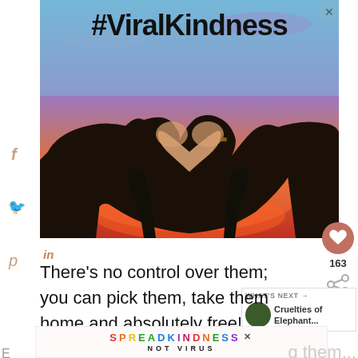[Figure (photo): Silhouette of two hands forming a heart shape against a colorful sunset sky (blue to purple to pink/orange), with bold text '#ViralKindness' at the top and a close (X) button in the top right corner of the image.]
in
There’s no control over them; you can pick them, take them home and absolutely free!
[Figure (infographic): WHAT'S NEXT panel with thumbnail of a nature scene and text: Cruelties of Elephant...]
[Figure (infographic): Bottom advertisement banner: SPREAD KINDNESS NOT VIRUS with colorful letters and an X close button]
E...
g them...